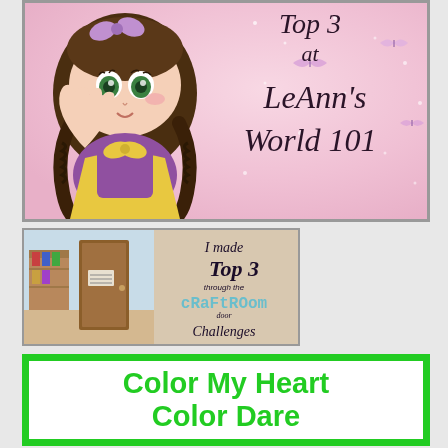[Figure (illustration): Banner image for LeAnn's World 101 blog featuring a chibi anime-style girl with brown braids, purple bow, purple and yellow dress, waving. Pink sparkly background with small butterflies. Cursive text reads 'Top 3 at LeAnn's World 101'.]
[Figure (illustration): Badge image showing a craft room photo on the left and text 'I made Top 3 through the cRaFtROom door Challenges' on a tan/beige background.]
[Figure (illustration): White banner with thick bright green border. Bold green text reading 'Color My Heart Color Dare'.]